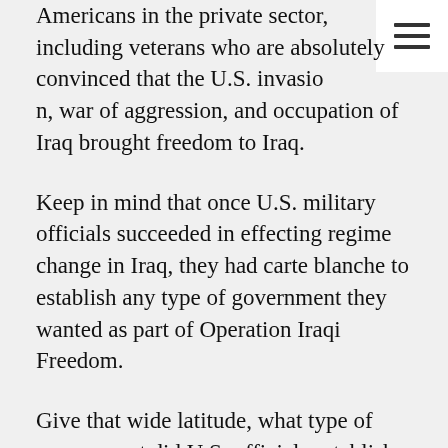Americans in the private sector, including veterans who are absolutely convinced that the U.S. invasion, war of aggression, and occupation of Iraq brought freedom to Iraq.
Keep in mind that once U.S. military officials succeeded in effecting regime change in Iraq, they had carte blanche to establish any type of government they wanted as part of Operation Iraqi Freedom.
Give that wide latitude, what type of government did U.S. officials establish in Iraq? They established what they considered was an ideal form of government, one that was consistent with their view of a free society.
The first thing they did was produce a governmental